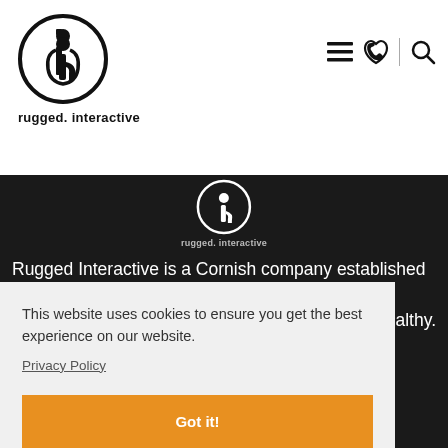[Figure (logo): rugged.interactive circular logo with stylized 'ri' monogram, black on white]
rugged. interactive
[Figure (infographic): Navigation icons: hamburger menu, phone, and search icons]
[Figure (logo): rugged.interactive circular logo on dark background]
rugged. interactive
Rugged Interactive is a Cornish company established with the aim of using technology and high quality engineering to ... althy.
This website uses cookies to ensure you get the best experience on our website.
Privacy Policy
Got it!
Fitness & Sport